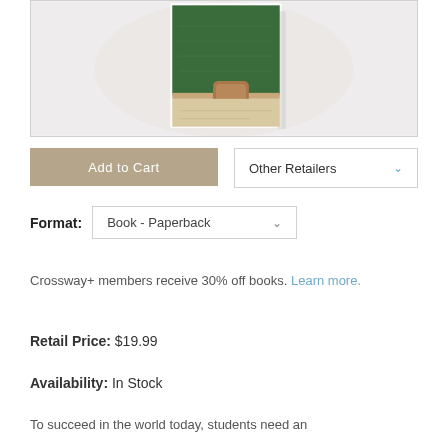[Figure (photo): Book cover showing a classroom chalkboard (green) with a chair partially visible, warm tan/brown tones]
Add to Cart
Other Retailers
Format: Book - Paperback
Crossway+ members receive 30% off books. Learn more.
Retail Price: $19.99
Availability: In Stock
To succeed in the world today, students need an